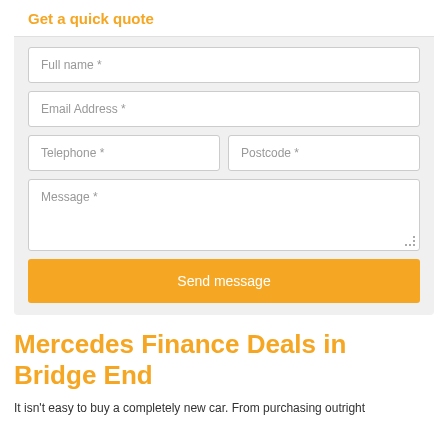Get a quick quote
[Figure (screenshot): Web form with fields: Full name *, Email Address *, Telephone *, Postcode *, Message *, and a Send message button]
Mercedes Finance Deals in Bridge End
It isn't easy to buy a completely new car. From purchasing outright